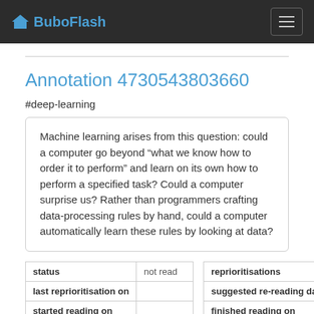BuboFlash
Annotation 4730543803660
#deep-learning
Machine learning arises from this question: could a computer go beyond “what we know how to order it to perform” and learn on its own how to perform a specified task? Could a computer surprise us? Rather than programmers crafting data-processing rules by hand, could a computer automatically learn these rules by looking at data?
| status | not read |
| --- | --- |
| last reprioritisation on |  |
| started reading on |  |
| reprioritisations |  |
| --- | --- |
| suggested re-reading day |  |
| finished reading on |  |